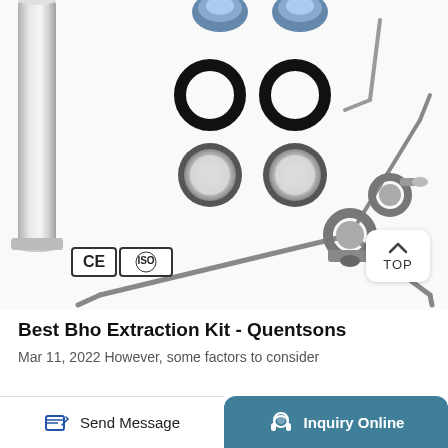[Figure (photo): Product photo of a BHO extraction kit showing stainless steel tubes, O-rings, filter discs, clamps, and fittings on a white background. CE and ISO certification logos visible in bottom-left corner of image. A TOP button visible at bottom-right of image.]
Best Bho Extraction Kit - Quentsons
Mar 11, 2022 However, some factors to consider
Send Message
Inquiry Online